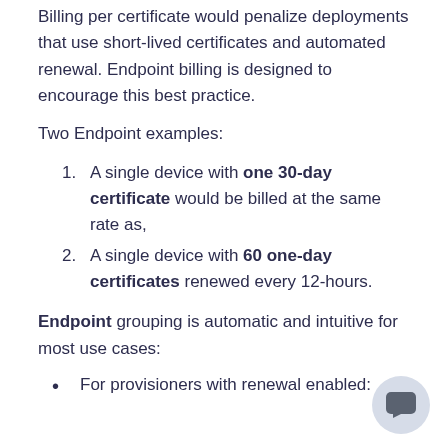Billing per certificate would penalize deployments that use short-lived certificates and automated renewal. Endpoint billing is designed to encourage this best practice.
Two Endpoint examples:
A single device with one 30-day certificate would be billed at the same rate as,
A single device with 60 one-day certificates renewed every 12-hours.
Endpoint grouping is automatic and intuitive for most use cases:
For provisioners with renewal enabled: